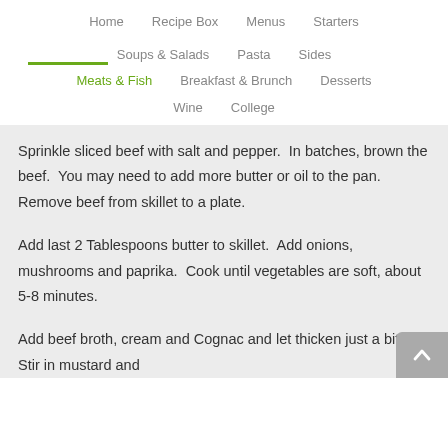Home   Recipe Box   Menus   Starters
Soups & Salads   Pasta   Sides
Meats & Fish   Breakfast & Brunch   Desserts
Wine   College
Sprinkle sliced beef with salt and pepper.  In batches, brown the beef.  You may need to add more butter or oil to the pan.  Remove beef from skillet to a plate.
Add last 2 Tablespoons butter to skillet.  Add onions, mushrooms and paprika.  Cook until vegetables are soft, about 5-8 minutes.
Add beef broth, cream and Cognac and let thicken just a bit.  Stir in mustard and